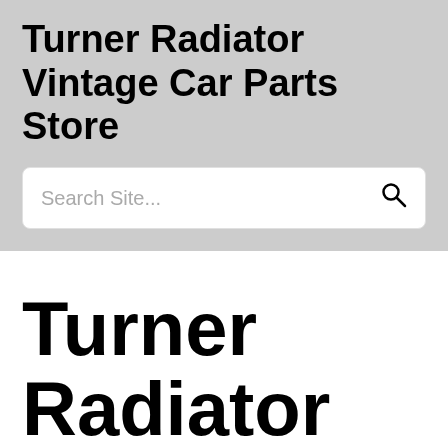Turner Radiator Vintage Car Parts Store
Search Site...
Turner Radiator For